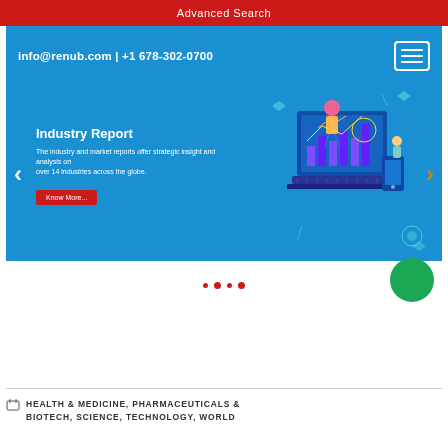Advanced Search
info@renub.com | +1 678-302-0700
[Figure (illustration): Website banner showing 'Industry Report' with text 'The industry and market reports offer strategic insight and analysis on over 14 industries across the globe.' and a 'Know More...' button, with a colorful isometric illustration of a person working with charts and data on the right side.]
HEALTH & MEDICINE, PHARMACEUTICALS & BIOTECH, SCIENCE, TECHNOLOGY, WORLD